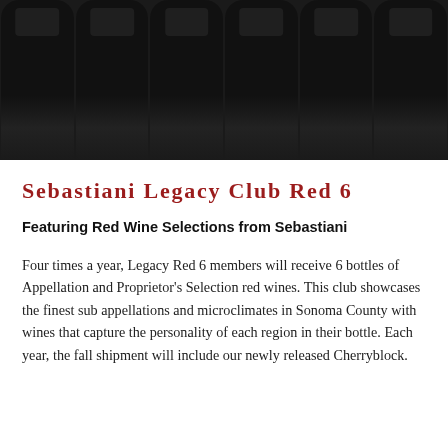[Figure (photo): Six dark wine bottles arranged in a row, cropped at the bottom of the image, with black labels, against a dark background.]
Sebastiani Legacy Club Red 6
Featuring Red Wine Selections from Sebastiani
Four times a year, Legacy Red 6 members will receive 6 bottles of Appellation and Proprietor's Selection red wines. This club showcases the finest sub appellations and microclimates in Sonoma County with wines that capture the personality of each region in their bottle. Each year, the fall shipment will include our newly released Cherryblock.